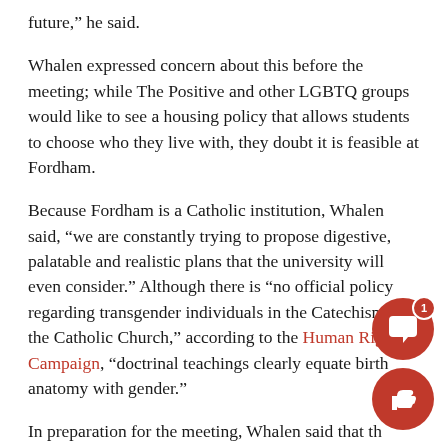future,” he said.
Whalen expressed concern about this before the meeting; while The Positive and other LGBTQ groups would like to see a housing policy that allows students to choose who they live with, they doubt it is feasible at Fordham.
Because Fordham is a Catholic institution, Whalen said, “we are constantly trying to propose digestive, palatable and realistic plans that the university will even consider.” Although there is “no official policy regarding transgender individuals in the Catechism of the Catholic Church,” according to the Human Rights Campaign, “doctrinal teachings clearly equate birth anatomy with gender.”
In preparation for the meeting, Whalen said that th would be “proposing ideas that will work within th